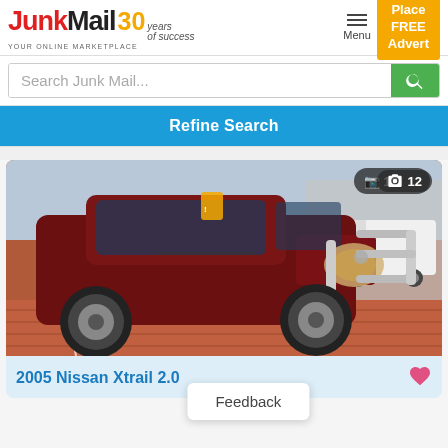JunkMail 30 years of success — YOUR ONLINE MARKETPLACE | Menu | Place FREE Advert
Search Junk Mail...
Refine Search
[Figure (photo): Dark red 2005 Nissan Xtrail SUV with bull bar, parked in a brick-paved parking area. Photo count badge showing 12 photos in top right corner.]
2005 Nissan Xtrail 2.0
Feedback